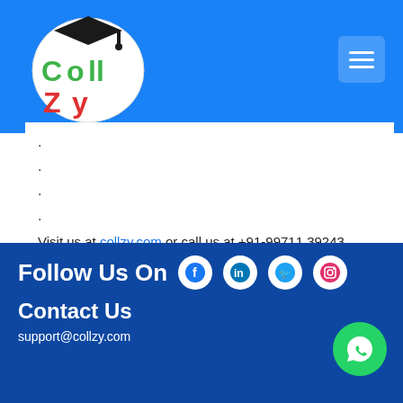[Figure (logo): Collzy logo with graduation cap, colorful letters C O L L Z Y]
.
.
.
.
Visit us at collzy.com or call us at +91-9971139243
Browse the college of your dreams with #collzy.
.
Follow Us On
Contact Us
support@collzy.com